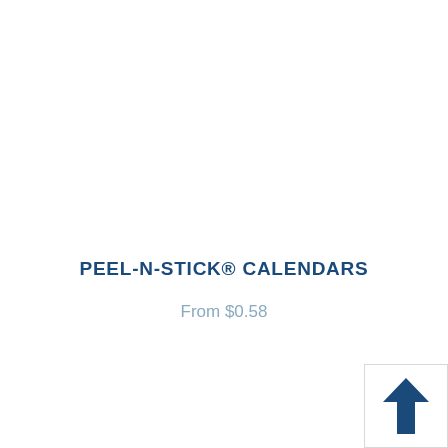PEEL-N-STICK® CALENDARS
From $0.58
[Figure (illustration): Upward pointing arrow icon in dark navy blue, inside a white box with light border in the bottom-right corner]